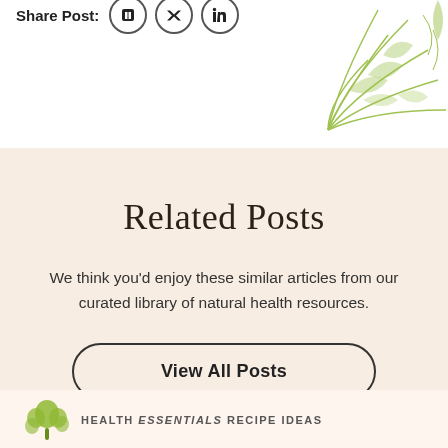Share Post:
[Figure (illustration): Green botanical line-art illustration of feathers or leaves in top-right corner]
Related Posts
We think you’d enjoy these similar articles from our curated library of natural health resources.
View All Posts
[Figure (logo): Health Essentials tree/leaf logo in olive green]
HEALTH ESSENTIALS RECIPE IDEAS